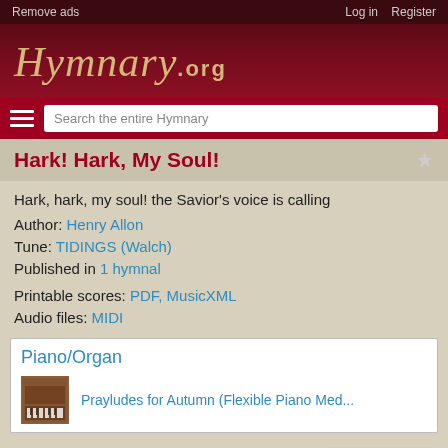Remove ads   Log in   Register
[Figure (logo): Hymnary.org logo in gold italic serif font on dark red background]
Search the entire Hymnary
Hark! Hark, My Soul!
Hark, hark, my soul! the Savior's voice is calling
Author: Henry Allon
Tune: TIDINGS (Walch)
Published in 1 hymnal
Printable scores: PDF, MusicXML
Audio files: MIDI
Piano/Organ
Prayludes for Autumn (Flexible Piano Med...
Representative Text
Contents